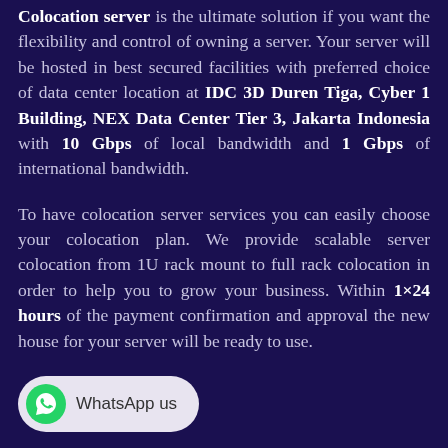Colocation server is the ultimate solution if you want the flexibility and control of owning a server. Your server will be hosted in best secured facilities with preferred choice of data center location at IDC 3D Duren Tiga, Cyber 1 Building, NEX Data Center Tier 3, Jakarta Indonesia with 10 Gbps of local bandwidth and 1 Gbps of international bandwidth.
To have colocation server services you can easily choose your colocation plan. We provide scalable server colocation from 1U rack mount to full rack colocation in order to help you to grow your business. Within 1×24 hours of the payment confirmation and approval the new house for your server will be ready to use.
WhatsApp us